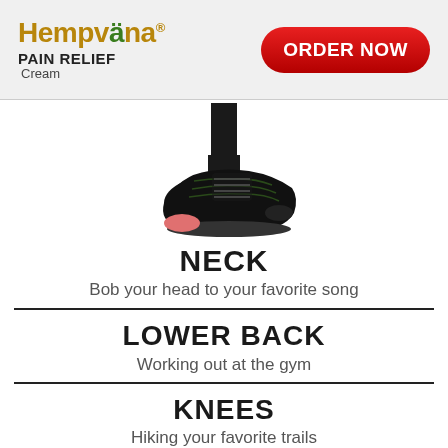[Figure (logo): Hempvana Pain Relief Cream logo with leaf icon]
[Figure (other): Red ORDER NOW button]
[Figure (photo): Person wearing black and olive green athletic sneaker, shown from ankle down]
NECK
Bob your head to your favorite song
LOWER BACK
Working out at the gym
KNEES
Hiking your favorite trails